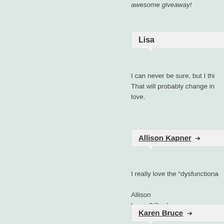awesome giveaway!
Lisa
I can never be sure, but I thi... That will probably change in... love.
Allison Kapner →
I really love the "dysfunctiona...

Allison
kappy6@yahoo.com
Karen Bruce →